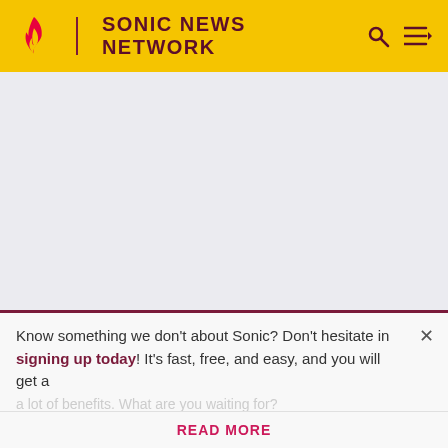SONIC NEWS NETWORK
[Figure (other): Advertisement placeholder area (gray background)]
ADVERTISEMENT
Appearance
Know something we don't about Sonic? Don't hesitate in signing up today! It's fast, free, and easy, and you will get a
READ MORE